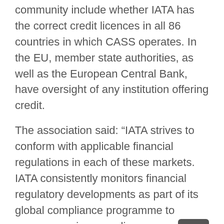community include whether IATA has the correct credit licences in all 86 countries in which CASS operates. In the EU, member state authorities, as well as the European Central Bank, have oversight of any institution offering credit.
The association said: “IATA strives to conform with applicable financial regulations in each of these markets. IATA consistently monitors financial regulatory developments as part of its global compliance programme to ensure ongoing compliance on a per market basis.”
However, it failed to be specific about what